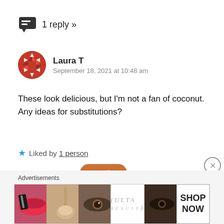1 reply »
Laura T
September 18, 2021 at 10:48 am
These look delicious, but I'm not a fan of coconut. Any ideas for substitutions?
★ Liked by 1 person
Reply
Advertisements
[Figure (other): Ulta Beauty advertisement banner with makeup imagery including lips, brush, eye, Ulta logo, smoky eyes, and Shop Now button]